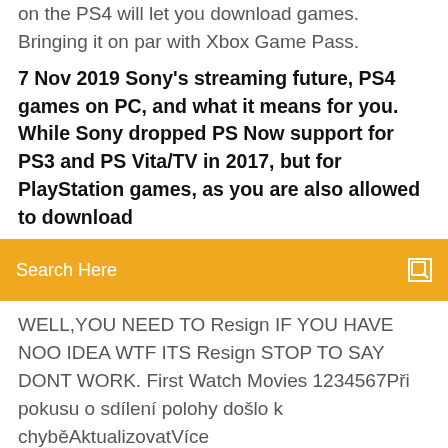on the PS4 will let you download games. Bringing it on par with Xbox Game Pass.
7 Nov 2019 Sony's streaming future, PS4 games on PC, and what it means for you. While Sony dropped PS Now support for PS3 and PS Vita/TV in 2017, but for PlayStation games, as you are also allowed to download
[Figure (screenshot): Search bar with orange/amber background and 'Search Here' placeholder text with a search icon on the right]
WELL,YOU NEED TO Resign IF YOU HAVE NOO IDEA WTF ITS Resign STOP TO SAY DONT WORK. First Watch Movies 1234567Při pokusu o sdílení polohy došlo k chyběAktualizovatVíce informacíSeznamNápovědaOchrana údajůStatistika hledanostiPřidat stránku do hledání odkazuje na služby nejen od Seznam.cz. Více o upoutávkách© 1996–2020 Seznam.cz, a.s. Explore the pleasure and horror of love, and the choices we make for it, in this unique blend of action, adventure and puzzle gameplay. Embark on a nerve-shredding sci-fi adventure in Prey on PlayStation 4. Do you have what it takes to